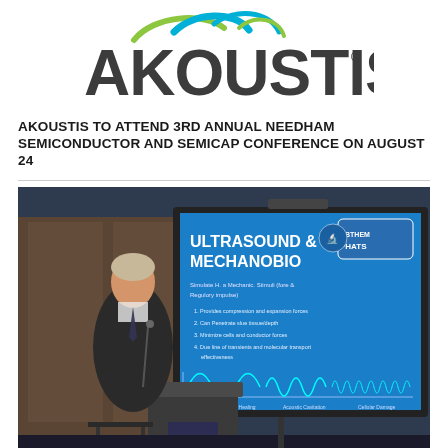[Figure (logo): Akoustis company logo with stylized swoosh design above bold 'AKOUSTIS' text with registered trademark symbol]
AKOUSTIS TO ATTEND 3RD ANNUAL NEEDHAM SEMICONDUCTOR AND SEMICAP CONFERENCE ON AUGUST 24
[Figure (photo): A person in a dark suit presenting at a podium in front of a large projected screen showing a blue slide titled 'Ultrasound & Mechanobio' with waveform graphics and bullet points]